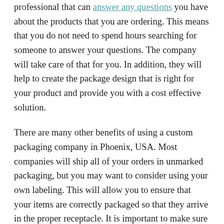professional that can answer any questions you have about the products that you are ordering. This means that you do not need to spend hours searching for someone to answer your questions. The company will take care of that for you. In addition, they will help to create the package design that is right for your product and provide you with a cost effective solution.
There are many other benefits of using a custom packaging company in Phoenix, USA. Most companies will ship all of your orders in unmarked packaging, but you may want to consider using your own labeling. This will allow you to ensure that your items are correctly packaged so that they arrive in the proper receptacle. It is important to make sure that you have enough time to properly package your items. Many times, companies will require that you